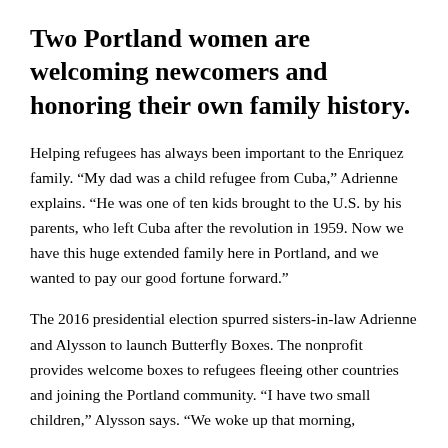Two Portland women are welcoming newcomers and honoring their own family history.
Helping refugees has always been important to the Enriquez family. “My dad was a child refugee from Cuba,” Adrienne explains. “He was one of ten kids brought to the U.S. by his parents, who left Cuba after the revolution in 1959. Now we have this huge extended family here in Portland, and we wanted to pay our good fortune forward.”
The 2016 presidential election spurred sisters-in-law Adrienne and Alysson to launch Butterfly Boxes. The nonprofit provides welcome boxes to refugees fleeing other countries and joining the Portland community. “I have two small children,” Alysson says. “We woke up that morning,